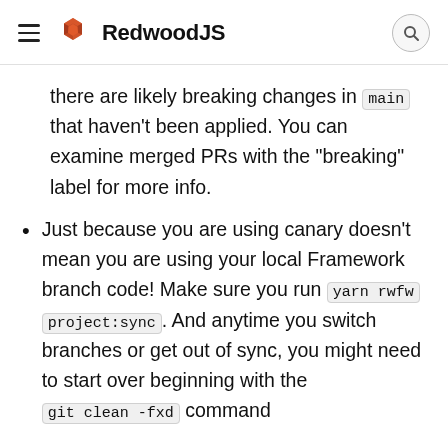RedwoodJS
there are likely breaking changes in main that haven't been applied. You can examine merged PRs with the “breaking” label for more info.
Just because you are using canary doesn’t mean you are using your local Framework branch code! Make sure you run yarn rwfw project:sync. And anytime you switch branches or get out of sync, you might need to start over beginning with the git clean -fxd command
With those details out of the way, now is the time to choose an option below that meets your needs based on functionality and